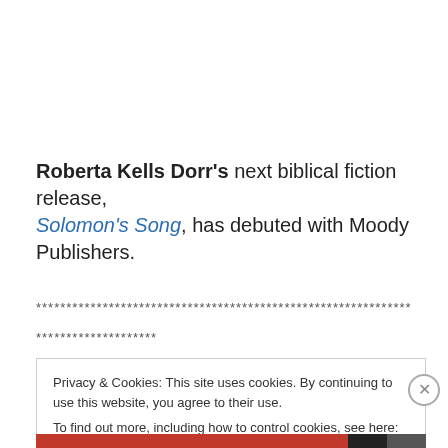Roberta Kells Dorr's next biblical fiction release, Solomon's Song, has debuted with Moody Publishers.
**********************************************************************
********************
Privacy & Cookies: This site uses cookies. By continuing to use this website, you agree to their use.
To find out more, including how to control cookies, see here: Cookie Policy
Close and accept